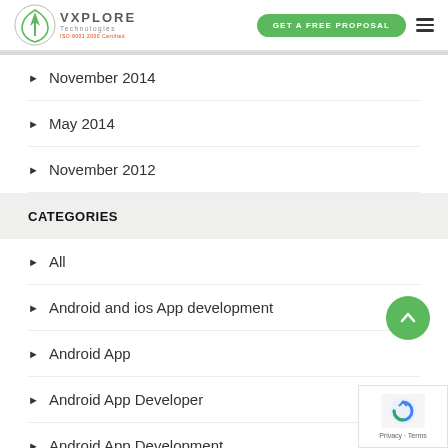VXPLORE Technologies | GET A FREE PROPOSAL
November 2014
May 2014
November 2012
CATEGORIES
All
Android and ios App development
Android App
Android App Developer
Android App Development
[Figure (other): Back to top green circular button with upward chevron arrow]
[Figure (other): Google reCAPTCHA badge with Privacy and Terms links]